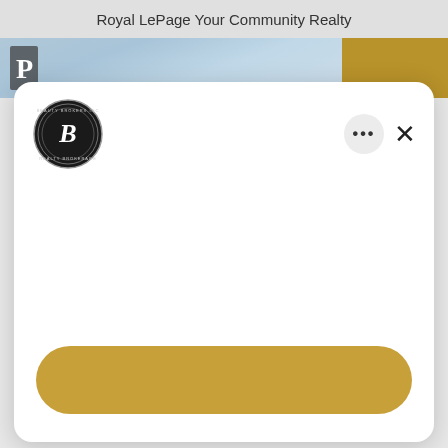Royal LePage Your Community Realty
[Figure (screenshot): Banner image with sky/clouds background and gold accent strip on right, with a stylized P logo on left]
[Figure (logo): Circular black seal/emblem with ornate B monogram in center and text around the border]
[Figure (other): Gold rounded rectangle button at bottom of modal card]